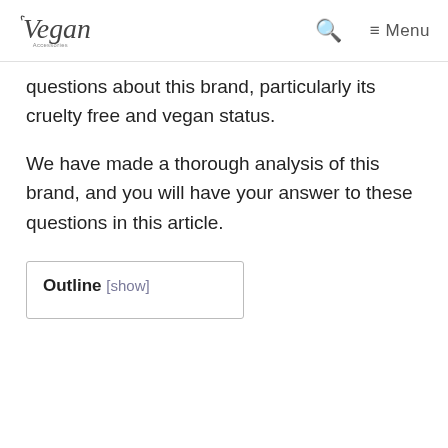Vegan [logo] | Search | Menu
questions about this brand, particularly its cruelty free and vegan status.
We have made a thorough analysis of this brand, and you will have your answer to these questions in this article.
Outline [show]